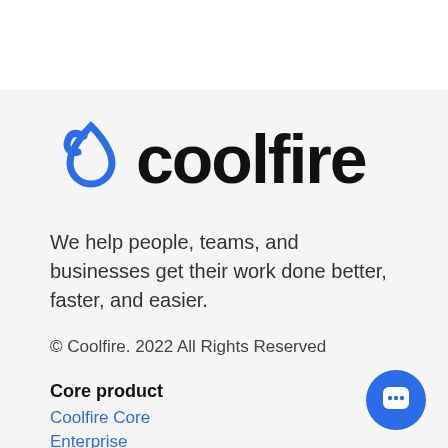[Figure (logo): Coolfire logo with blue drop/swirl icon and black text 'coolfire']
We help people, teams, and businesses get their work done better, faster, and easier.
© Coolfire. 2022 All Rights Reserved
Core product
Coolfire Core
Enterprise